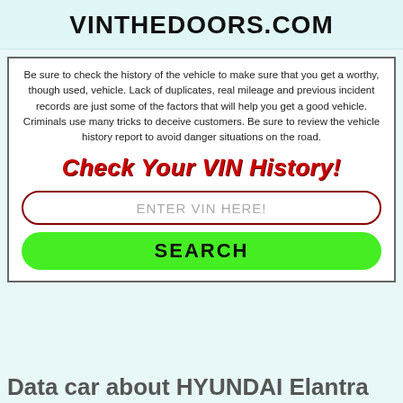VINTHEDOORS.COM
Be sure to check the history of the vehicle to make sure that you get a worthy, though used, vehicle. Lack of duplicates, real mileage and previous incident records are just some of the factors that will help you get a good vehicle. Criminals use many tricks to deceive customers. Be sure to review the vehicle history report to avoid danger situations on the road.
Check Your VIN History!
ENTER VIN HERE!
SEARCH
Data car about HYUNDAI Elantra